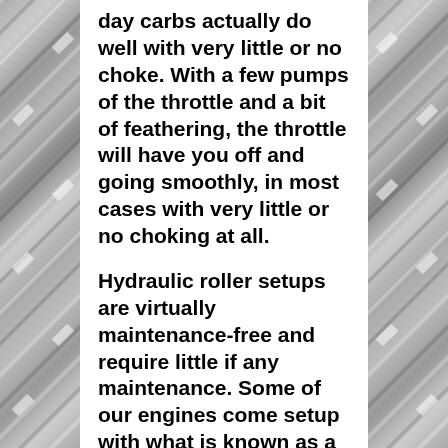day carbs actually do well with very little or no choke. With a few pumps of the throttle and a bit of feathering, the throttle will have you off and going smoothly, in most cases with very little or no choking at all.
Hydraulic roller setups are virtually maintenance-free and require little if any maintenance. Some of our engines come setup with what is known as a hybrid valvetrain. These require very little maintenance and are very reliable.